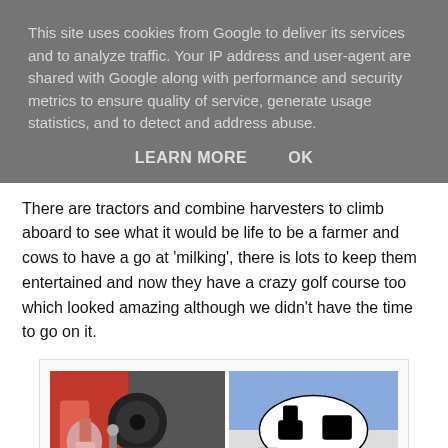This site uses cookies from Google to deliver its services and to analyze traffic. Your IP address and user-agent are shared with Google along with performance and security metrics to ensure quality of service, generate usage statistics, and to detect and address abuse.
LEARN MORE   OK
There are tractors and combine harvesters to climb aboard to see what it would be life to be a farmer and cows to have a go at 'milking', there is lots to keep them entertained and now they have a crazy golf course too which looked amazing although we didn't have the time to go on it.
[Figure (photo): Two photos side by side: left shows a child in a floral hat sitting in a red tractor cab; right shows a child crouching next to a black and white cow model, appearing to milk it.]
We loved this cheeky llama, he stood waiting for us to feed